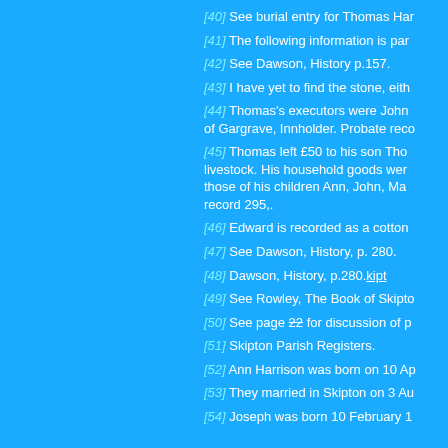[40] See burial entry for Thomas Har...
[41] The following information is par...
[42] See Dawson, History p.157.
[43] I have yet to find the stone, eith...
[44] Thomas's executors were John ... of Gargrave, Innholder. Probate reco...
[45] Thomas left £50 to his son Thor... livestock. His household goods wer... those of his children Ann, John, Ma... record 295,.
[46] Edward is recorded as a cotton...
[47] See Dawson, History, p. 280.
[48] Dawson, History, p.280.kipt
[49] See Rowley, The Book of Skipto...
[50] See page 22 for discussion of p...
[51] Skipton Parish Registers.
[52] Ann Harrison was born on 10 Ap...
[53] They married in Skipton on 3 Au...
[54] Joseph was born 10 February 1...